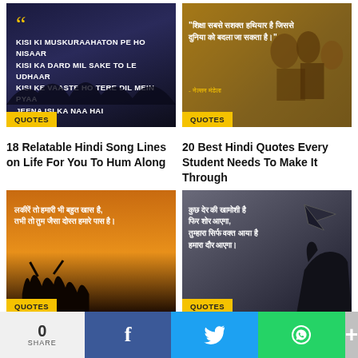[Figure (photo): Dark night sky image with large yellow quotation marks and bold white Hindi song lyrics text: KISI KI MUSKURAAHATON PE HO NISAAR / KISI KA DARD MIL SAKE TO LE UDHAAR / KISI KE VAASTE HO TERE DIL MEIN PYAA / JEENA ISI KA NAA HAI, with QUOTES badge]
[Figure (photo): Classroom scene with students in background, Hindi text quote about education being the strongest weapon with Nelson Mandela attribution in yellow, QUOTES badge]
18 Relatable Hindi Song Lines on Life For You To Hum Along
20 Best Hindi Quotes Every Student Needs To Make It Through
[Figure (photo): Sunset silhouettes of friends celebrating with Hindi friendship quote text, QUOTES badge]
[Figure (photo): Dark background with paper plane and hand silhouette, Hindi motivational quote text, QUOTES badge]
17 Awesome Hindi
24 Powerful Hindi Quotes